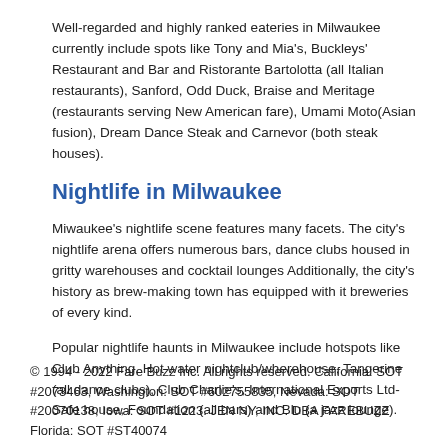Well-regarded and highly ranked eateries in Milwaukee currently include spots like Tony and Mia's, Buckleys' Restaurant and Bar and Ristorante Bartolotta (all Italian restaurants), Sanford, Odd Duck, Braise and Meritage (restaurants serving New American fare), Umami Moto(Asian fusion), Dream Dance Steak and Carnevor (both steak houses).
Nightlife in Milwaukee
Miwaukee's nightlife scene features many facets. The city's nightlife arena offers numerous bars, dance clubs housed in gritty warehouses and cocktail lounges Additionally, the city's history as brew-making town has equipped with it breweries of every kind.
Popular nightlife haunts in Milwaukee include hotspots like Club Anything, Hot water nightclub/wherehouse, Tangerine (all dance clubs), Club Charlie's, International Exports Ltd-Safe house, Foundation (all bars) and Blu (a jazz lounge).
© 1994 - 2022 Fare Buzz Inc. All rights reserved. California: SOT #2073463, Washington: SOT #602755835, Nevada: SOT #20070138, Iowa: SOT #1223. JEN NY, INC. DBA FAREBUZZ Florida: SOT #ST40074